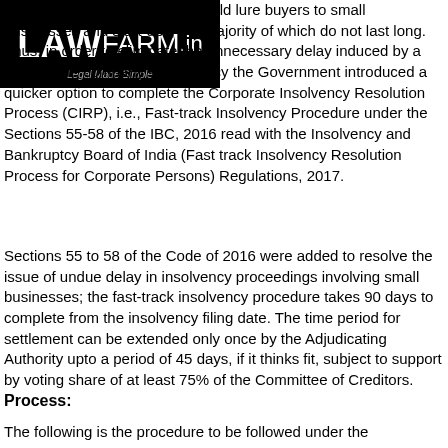[Figure (logo): LAWFARM.in logo with tagline 'Legal Made Simple' on black background]
company. Faster settlement would lure buyers to small businesses and start-ups, the majority of which do not last long. Thus, in order to eliminate the unnecessary delay induced by a small-scale company's insolvency the Government introduced a quicker option to complete the Corporate Insolvency Resolution Process (CIRP), i.e., Fast-track Insolvency Procedure under the Sections 55-58 of the IBC, 2016 read with the Insolvency and Bankruptcy Board of India (Fast track Insolvency Resolution Process for Corporate Persons) Regulations, 2017.
Sections 55 to 58 of the Code of 2016 were added to resolve the issue of undue delay in insolvency proceedings involving small businesses; the fast-track insolvency procedure takes 90 days to complete from the insolvency filing date. The time period for settlement can be extended only once by the Adjudicating Authority upto a period of 45 days, if it thinks fit, subject to support by voting share of at least 75% of the Committee of Creditors.
Process:
The following is the procedure to be followed under the